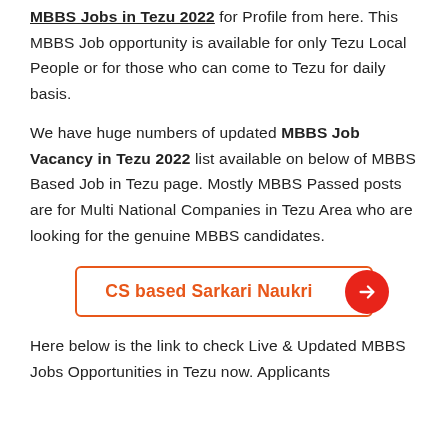MBBS Jobs in Tezu 2022 for Profile from here. This MBBS Job opportunity is available for only Tezu Local People or for those who can come to Tezu for daily basis.
We have huge numbers of updated MBBS Job Vacancy in Tezu 2022 list available on below of MBBS Based Job in Tezu page. Mostly MBBS Passed posts are for Multi National Companies in Tezu Area who are looking for the genuine MBBS candidates.
[Figure (infographic): Orange-bordered button with text 'CS based Sarkari Naukri' and a red circular arrow icon on the right]
Here below is the link to check Live & Updated MBBS Jobs Opportunities in Tezu now. Applicants